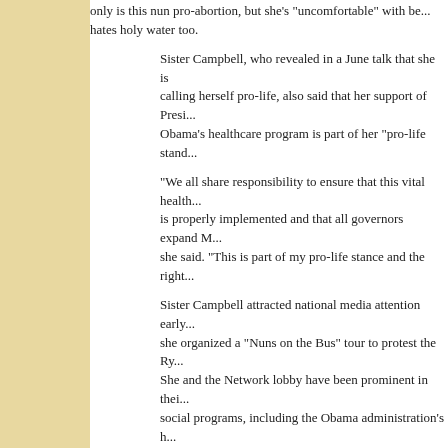only is this nun pro-abortion, but she's "uncomfortable" with be... hates holy water too.
Sister Campbell, who revealed in a June talk that she is calling herself pro-life, also said that her support of Presi... Obama's healthcare program is part of her "pro-life stand...
“We all share responsibility to ensure that this vital health... is properly implemented and that all governors expand M... she said. “This is part of my pro-life stance and the right...
Sister Campbell attracted national media attention early... she organized a “Nuns on the Bus” tour to protest the Ry... She and the Network lobby have been prominent in thei... social programs, including the Obama administration’s h... In June, a Charlotte newspaper reported that in an appe... Campbell had "scorned the US bishops for their continue... health insurance law."
Catholic Culture's full article, here....
H/t: AC
Posted by Tancred at 8:03 PM   3 comments:
Labels: Cardinal Rode, Democratic Shills, Heretics, LCWR, Luxury Bus Nu...